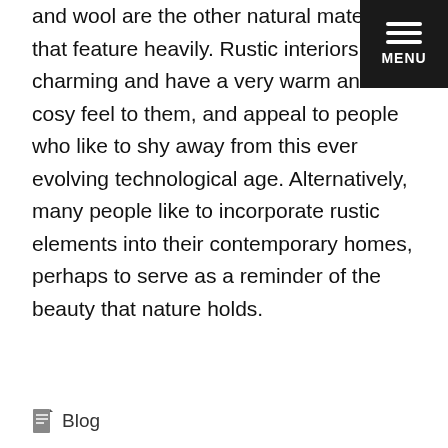and wool are the other natural materials that feature heavily. Rustic interiors are charming and have a very warm and cosy feel to them, and appeal to people who like to shy away from this ever evolving technological age. Alternatively, many people like to incorporate rustic elements into their contemporary homes, perhaps to serve as a reminder of the beauty that nature holds.
Blog